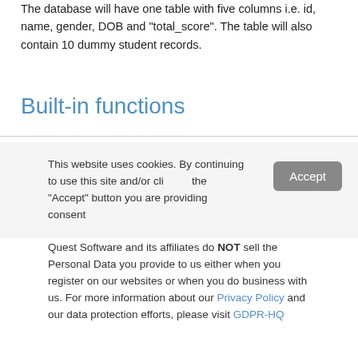The database will have one table with five columns i.e. id, name, gender, DOB and "total_score". The table will also contain 10 dummy student records.
Built-in functions
This website uses cookies. By continuing to use this site and/or clicking the "Accept" button you are providing consent
Quest Software and its affiliates do NOT sell the Personal Data you provide to us either when you register on our websites or when you do business with us. For more information about our Privacy Policy and our data protection efforts, please visit GDPR-HQ